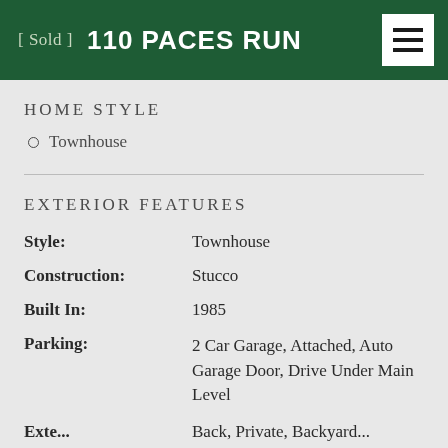[ Sold ]  110 PACES RUN
HOME STYLE
Townhouse
EXTERIOR FEATURES
| Field | Value |
| --- | --- |
| Style: | Townhouse |
| Construction: | Stucco |
| Built In: | 1985 |
| Parking: | 2 Car Garage, Attached, Auto Garage Door, Drive Under Main Level |
| Exterior: | Back, Private, Backyard... |